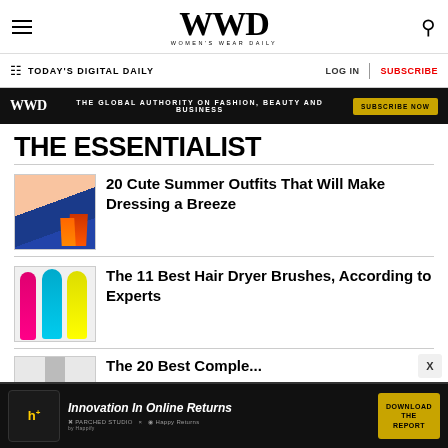WWD - Women's Wear Daily
TODAY'S DIGITAL DAILY | LOG IN | SUBSCRIBE
[Figure (infographic): WWD black banner ad: THE GLOBAL AUTHORITY ON FASHION, BEAUTY AND BUSINESS — SUBSCRIBE NOW button]
THE ESSENTIALIST
[Figure (photo): Thumbnail of summer outfits including floral dress and orange heels]
20 Cute Summer Outfits That Will Make Dressing a Breeze
[Figure (photo): Thumbnail of hair dryer brushes in pink, blue, and yellow]
The 11 Best Hair Dryer Brushes, According to Experts
[Figure (photo): Partial thumbnail of third article]
The 20 Best Comple...
[Figure (infographic): Bottom ad banner: Innovation In Online Returns — Happy Returns — DOWNLOAD THE REPORT button]